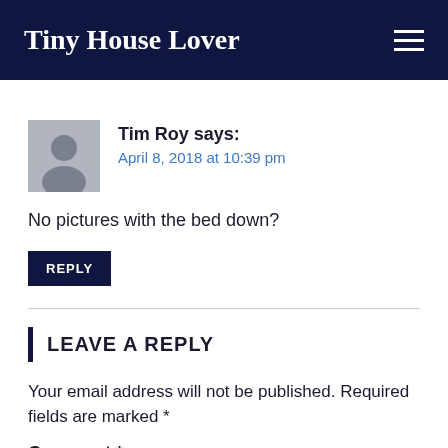Tiny House Lover
Tim Roy says:
April 8, 2018 at 10:39 pm
No pictures with the bed down?
REPLY
LEAVE A REPLY
Your email address will not be published. Required fields are marked *
Comment *